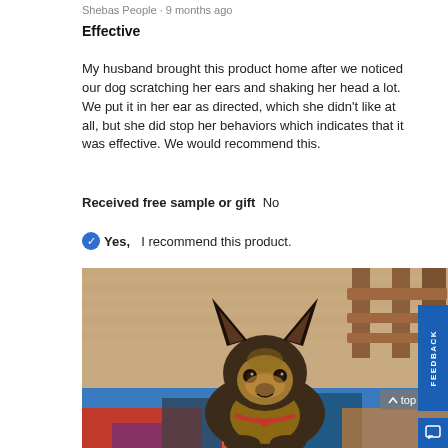Shebas People · 9 months ago
Effective
My husband brought this product home after we noticed our dog scratching her ears and shaking her head a lot. We put it in her ear as directed, which she didn't like at all, but she did stop her behaviors which indicates that it was effective. We would recommend this.
Received free sample or gift  No
Yes,  I recommend this product.
[Figure (photo): A small dog with large ears sitting on a colorful rug on a hardwood floor, with a wooden chair in the background. The dog is looking directly at the camera.]